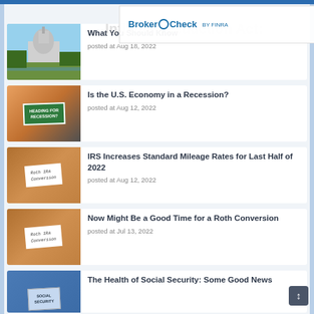[Figure (screenshot): BrokerCheck by FINRA overlay logo on top of page]
Inflation Reduction Act: What You Should Know
posted at Aug 18, 2022
Is the U.S. Economy in a Recession?
posted at Aug 12, 2022
IRS Increases Standard Mileage Rates for Last Half of 2022
posted at Aug 12, 2022
Now Might Be a Good Time for a Roth Conversion
posted at Jul 13, 2022
The Health of Social Security: Some Good News
(partial)